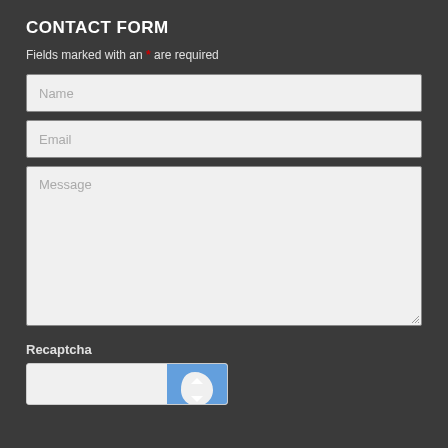CONTACT FORM
Fields marked with an * are required
Name
Email
Message
Recaptcha
[Figure (other): reCAPTCHA widget showing partial blue logo/checkmark image]